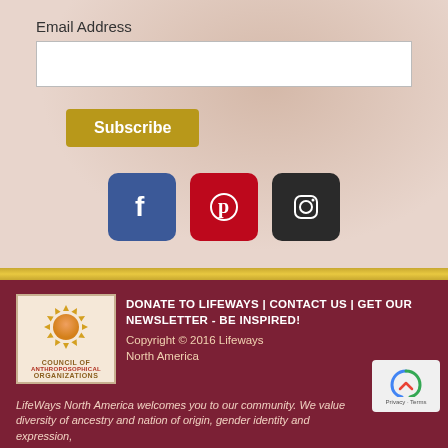Email Address
[Email input field]
Subscribe
[Figure (logo): Facebook, Pinterest, and Instagram social media icon buttons]
[Figure (logo): Council of Anthroposophical Organizations sun logo]
DONATE TO LIFEWAYS | CONTACT US | GET OUR NEWSLETTER - BE INSPIRED!
Copyright © 2016 Lifeways North America
LifeWays North America welcomes you to our community. We value diversity of ancestry and nation of origin, gender identity and expression,